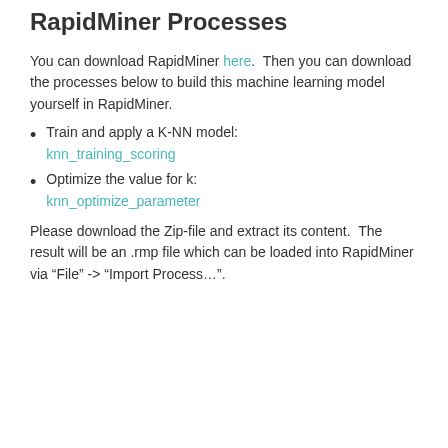RapidMiner Processes
You can download RapidMiner here.  Then you can download the processes below to build this machine learning model yourself in RapidMiner.
Train and apply a K-NN model: knn_training_scoring
Optimize the value for k: knn_optimize_parameter
Please download the Zip-file and extract its content.  The result will be an .rmp file which can be loaded into RapidMiner via “File” -> “Import Process…”.